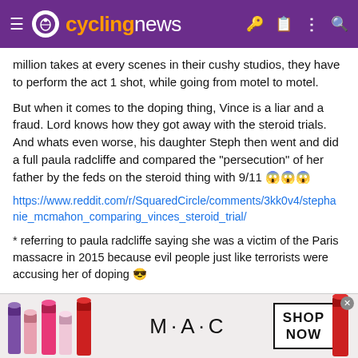cyclingnews
million takes at every scenes in their cushy studios, they have to perform the act 1 shot, while going from motel to motel.
But when it comes to the doping thing, Vince is a liar and a fraud. Lord knows how they got away with the steroid trials. And whats even worse, his daughter Steph then went and did a full paula radcliffe and compared the "persecution" of her father by the feds on the steroid thing with 9/11 😱😱😱
https://www.reddit.com/r/SquaredCircle/comments/3kk0v4/stephanie_mcmahon_comparing_vinces_steroid_trial/
* referring to paula radcliffe saying she was a victim of the Paris massacre in 2015 because evil people just like terrorists were accusing her of doping 😎
[Figure (photo): M·A·C cosmetics advertisement banner with lipsticks and SHOP NOW box]